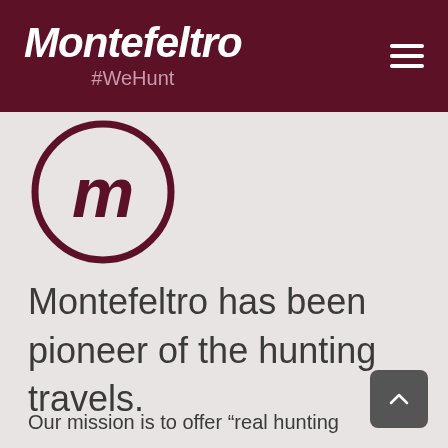Montefeltro #WeHunt
[Figure (logo): Montefeltro circular M logo in dark maroon on light gray background]
Montefeltro has been pioneer of the hunting travels.
Our mission is to offer "real hunting